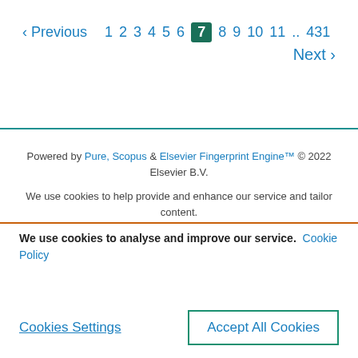‹ Previous  1 2 3 4 5 6  7  8 9 10 11 .. 431  Next ›
Powered by Pure, Scopus & Elsevier Fingerprint Engine™ © 2022 Elsevier B.V.
We use cookies to help provide and enhance our service and tailor content.
We use cookies to analyse and improve our service. Cookie Policy
Cookies Settings
Accept All Cookies